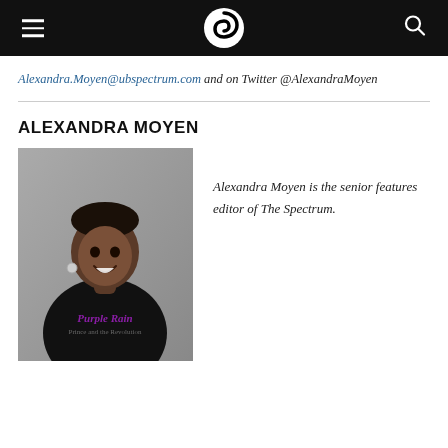The Spectrum (logo/navigation bar)
Alexandra.Moyen@ubspectrum.com and on Twitter @AlexandraMoyen
ALEXANDRA MOYEN
[Figure (photo): Portrait photo of Alexandra Moyen, a young Black woman smiling, wearing a black 'Purple Rain' band t-shirt, photographed against a grey background.]
Alexandra Moyen is the senior features editor of The Spectrum.